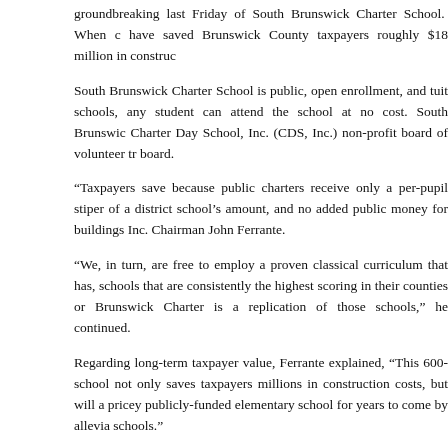groundbreaking last Friday of South Brunswick Charter School. When c... have saved Brunswick County taxpayers roughly $18 million in construc...
South Brunswick Charter School is public, open enrollment, and tuit... schools, any student can attend the school at no cost. South Brunswic... Charter Day School, Inc. (CDS, Inc.) non-profit board of volunteer tr... board.
“Taxpayers save because public charters receive only a per-pupil stiper... of a district school’s amount, and no added public money for buildings... Inc. Chairman John Ferrante.
“We, in turn, are free to employ a proven classical curriculum that has,... schools that are consistently the highest scoring in their counties or... Brunswick Charter is a replication of those schools,” he continued.
Regarding long-term taxpayer value, Ferrante explained, “This 600-... school not only saves taxpayers millions in construction costs, but will a... pricey publicly-funded elementary school for years to come by allevia... schools.”
Senator Bill Rabon attended the event, stating that “It’s quite exciting...